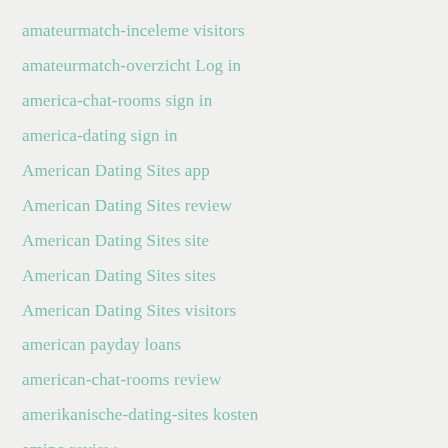amateurmatch-inceleme visitors
amateurmatch-overzicht Log in
america-chat-rooms sign in
america-dating sign in
American Dating Sites app
American Dating Sites review
American Dating Sites site
American Dating Sites sites
American Dating Sites visitors
american payday loans
american-chat-rooms review
amerikanische-dating-sites kosten
amino review